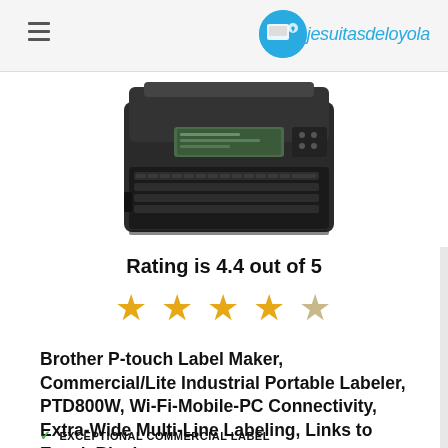jesuitasdeloyola
[Figure (photo): Brother P-touch PTD800W label maker, black, with keyboard and display, shown from a slightly elevated front angle]
Rating is 4.4 out of 5
[Figure (infographic): 4.4 out of 5 stars rating: four full gold stars and one partially filled (gray/gold) star]
Brother P-touch Label Maker, Commercial/Lite Industrial Portable Labeler, PTD800W, Wi-Fi-Mobile-PC Connectivity, Extra-Wide Multi-Line Labeling, Links to Excel, Black
EXCEPTIONAL COMMERCIAL LABEL